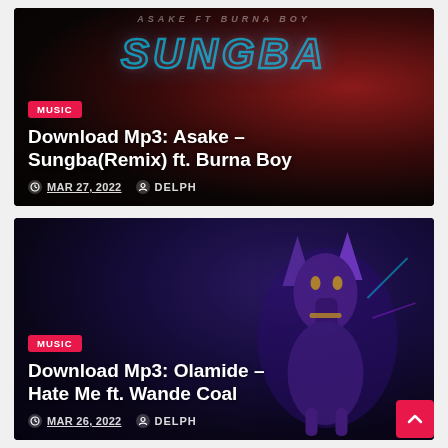[Figure (photo): Card 1: Dark background with red tones, stylized text 'ASAKE FT BURNA BOY' and 'SUNGBA' neon logo artwork]
MUSIC
Download Mp3: Asake – Sungba(Remix) ft. Burna Boy
MAR 27, 2022   DELPH
[Figure (photo): Card 2: Dark purple background with stylized Anubis/jackal deity artwork in purple and gold tones]
MUSIC
Download Mp3: Olamide – Hate Me ft. Wande Coal
MAR 26, 2022   DELPH